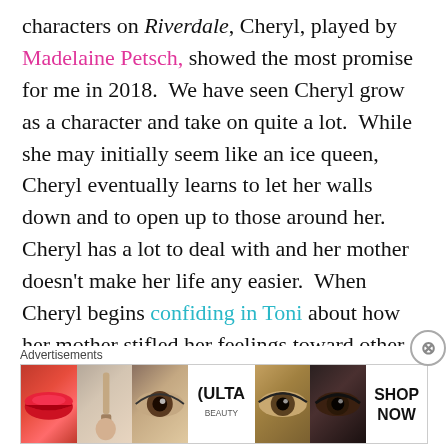characters on Riverdale, Cheryl, played by Madelaine Petsch, showed the most promise for me in 2018.  We have seen Cheryl grow as a character and take on quite a lot.  While she may initially seem like an ice queen, Cheryl eventually learns to let her walls down and to open up to those around her.  Cheryl has a lot to deal with and her mother doesn't make her life any easier.  When Cheryl begins confiding in Toni about how her mother stifled her feelings toward other girls, it starts to make a lot of sense why Cheryl kept everyone at a
Advertisements
[Figure (other): ULTA beauty advertisement banner showing makeup-related images: red lips, blush brush, eye with makeup, ULTA logo, eye with dramatic eye makeup, dark eye makeup, and SHOP NOW text.]